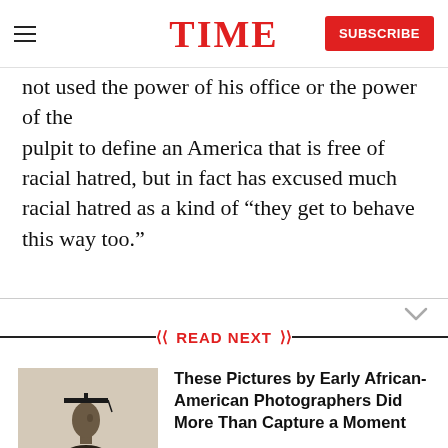TIME | SUBSCRIBE
not used the power of his office or the power of the pulpit to define an America that is free of racial hatred, but in fact has excused much racial hatred as a kind of “they get to behave this way too.”
READ NEXT
[Figure (photo): Black and white photograph of an African-American woman wearing a graduation cap, in side profile]
These Pictures by Early African-American Photographers Did More Than Capture a Moment